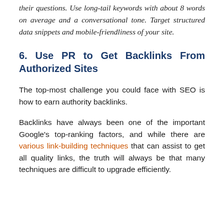their questions. Use long-tail keywords with about 8 words on average and a conversational tone. Target structured data snippets and mobile-friendliness of your site.
6. Use PR to Get Backlinks From Authorized Sites
The top-most challenge you could face with SEO is how to earn authority backlinks.
Backlinks have always been one of the important Google's top-ranking factors, and while there are various link-building techniques that can assist to get all quality links, the truth will always be that many techniques are difficult to upgrade efficiently.